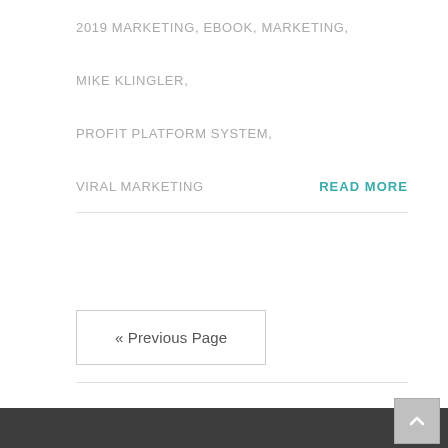2019 MARKETING, EBOOK, MARKETING,
MIKE KLINGLER,
PROFIT PLATFORM SYSTEM,
VIRAL MARKETING
READ MORE
« Previous Page